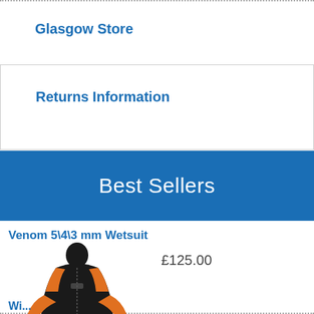Glasgow Store
Returns Information
Best Sellers
Venom 5\4\3 mm Wetsuit
[Figure (photo): Black and orange Venom 5/4/3 mm wetsuit displayed on a model figure]
£125.00
Wi...